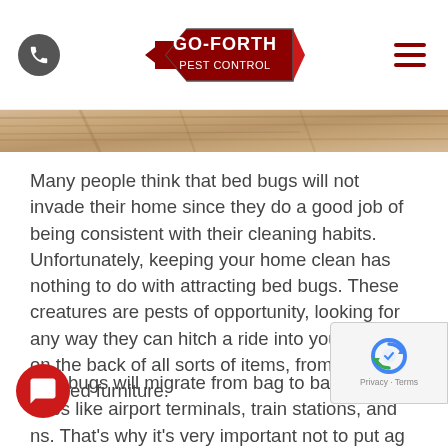Go-Forth Pest Control — navigation header with phone icon, logo, and hamburger menu
[Figure (photo): Wood grain / wooden surface hero image strip]
Many people think that bed bugs will not invade their home since they do a good job of being consistent with their cleaning habits. Unfortunately, keeping your home clean has nothing to do with attracting bed bugs. These creatures are pests of opportunity, looking for any way they can hitch a ride into your home on the back of all sorts of items, from luggage to used furniture.
Bed bugs will migrate from bag to bag at travel hubs like airport terminals, train stations, and [bus stations]. That's why it's very important not to put [your b]ag on the ground in these kinds of places for very long, and it's also very important to check your luggage before bringing it into the home.